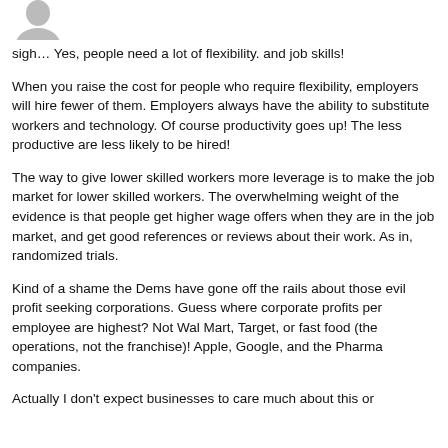[Figure (illustration): Grayscale avatar/profile icon of a person, cropped at top of page]
sigh… Yes, people need a lot of flexibility. and job skills!
When you raise the cost for people who require flexibility, employers will hire fewer of them. Employers always have the ability to substitute workers and technology. Of course productivity goes up! The less productive are less likely to be hired!
The way to give lower skilled workers more leverage is to make the job market for lower skilled workers. The overwhelming weight of the evidence is that people get higher wage offers when they are in the job market, and get good references or reviews about their work. As in, randomized trials.
Kind of a shame the Dems have gone off the rails about those evil profit seeking corporations. Guess where corporate profits per employee are highest? Not Wal Mart, Target, or fast food (the operations, not the franchise)! Apple, Google, and the Pharma companies.
Actually I don't expect businesses to care much about this or